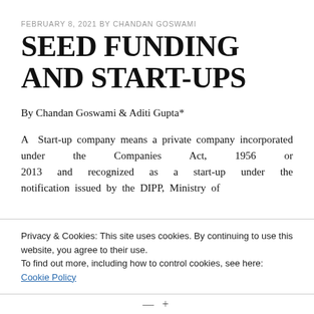FEBRUARY 8, 2021 BY CHANDAN GOSWAMI
SEED FUNDING AND START-UPS
By Chandan Goswami & Aditi Gupta*
A Start-up company means a private company incorporated under the Companies Act, 1956 or 2013 and recognized as a start-up under the notification issued by the DIPP, Ministry of
Privacy & Cookies: This site uses cookies. By continuing to use this website, you agree to their use.
To find out more, including how to control cookies, see here:
Cookie Policy
Close and accept